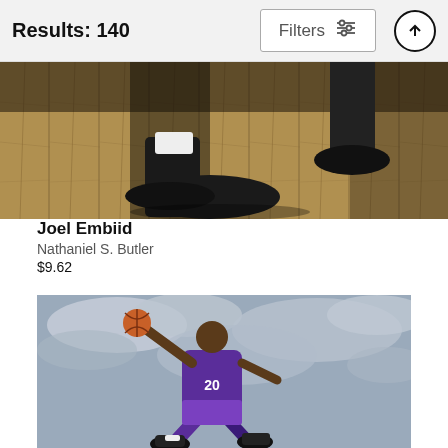Results: 140 | Filters
[Figure (photo): Close-up photo of person's feet and legs wearing black sneakers on a wooden floor surface with dramatic lighting and shadows]
Joel Embiid
Nathaniel S. Butler
$9.62
[Figure (photo): Basketball player wearing purple Sacramento Kings #20 jersey jumping in the air holding a basketball against a cloudy sky background]